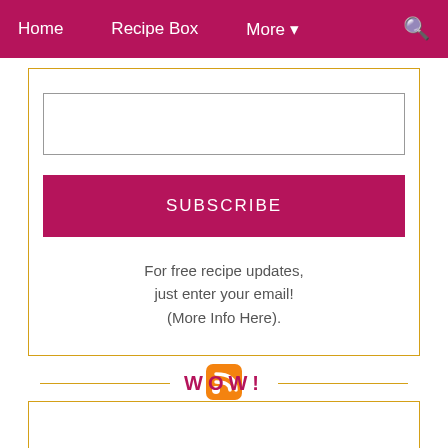Home   Recipe Box   More ▾
For free recipe updates, just enter your email! (More Info Here).
[Figure (illustration): RSS feed orange icon]
[Figure (illustration): Image placeholder with broken image icon]
WOW!